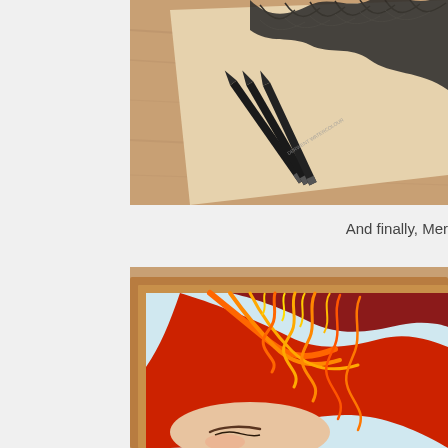[Figure (photo): A pencil drawing of dark bird wings on beige paper, placed on a wooden desk, with black Derwent watercolor pencils resting on the artwork.]
And finally, Mer
[Figure (photo): A colorful illustration of a figure with vivid red, orange, and yellow flowing wavy hair, framed in wood, placed on a wooden surface.]